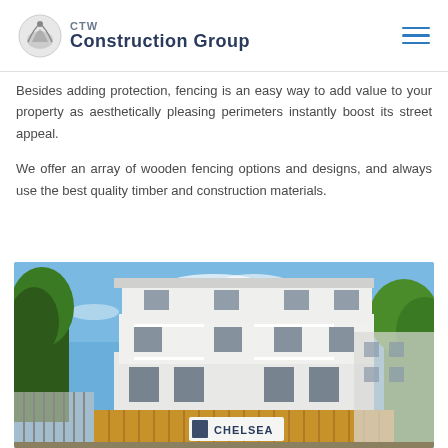CTW Construction Group
Besides adding protection, fencing is an easy way to add value to your property as aesthetically pleasing perimeters instantly boost its street appeal.
We offer an array of wooden fencing options and designs, and always use the best quality timber and construction materials.
[Figure (photo): Exterior photo of a modern multi-storey white residential building called The Chelsea, with wooden fence panels in the foreground, trees on both sides, and a blue sky background.]